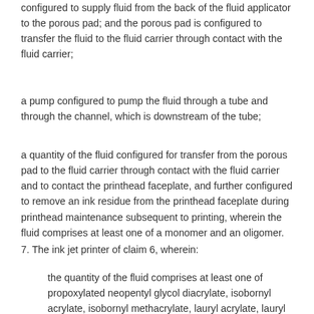configured to supply fluid from the back of the fluid applicator to the porous pad; and the porous pad is configured to transfer the fluid to the fluid carrier through contact with the fluid carrier;
a pump configured to pump the fluid through a tube and through the channel, which is downstream of the tube;
a quantity of the fluid configured for transfer from the porous pad to the fluid carrier through contact with the fluid carrier and to contact the printhead faceplate, and further configured to remove an ink residue from the printhead faceplate during printhead maintenance subsequent to printing, wherein the fluid comprises at least one of a monomer and an oligomer.
7. The ink jet printer of claim 6, wherein:
the quantity of the fluid comprises at least one of propoxylated neopentyl glycol diacrylate, isobornyl acrylate, isobornyl methacrylate, lauryl acrylate, lauryl methacrylate, isodecylacrylate, isodecylmethacrylate, caprolactone acrylate, 2-phenoxyethyl acrylate, isooctylacrylate, isooctylmethacrylate, butyl acrylate,